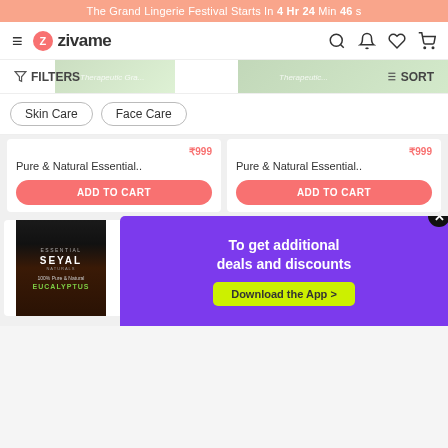The Grand Lingerie Festival Starts In 4 Hr 24 Min 46 s
[Figure (screenshot): Zivame e-commerce website navigation bar with hamburger menu, Zivame logo, search, notification, wishlist, and cart icons]
[Figure (screenshot): Filter and Sort bar with background images of lingerie products]
Skin Care
Face Care
Pure & Natural Essential..
ADD TO CART
Pure & Natural Essential..
ADD TO CART
[Figure (photo): Seyal Essential Oil bottle - 100% Pure & Natural Eucalyptus oil, dark amber bottle with black cap]
[Figure (infographic): Purple popup overlay with text 'To get additional deals and discounts' and yellow Download the App button with X close button]